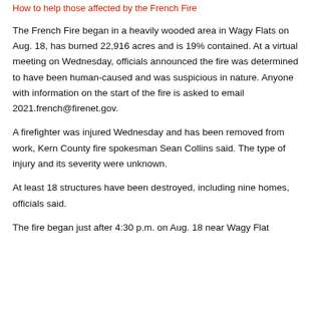How to help those affected by the French Fire
The French Fire began in a heavily wooded area in Wagy Flats on Aug. 18, has burned 22,916 acres and is 19% contained. At a virtual meeting on Wednesday, officials announced the fire was determined to have been human-caused and was suspicious in nature. Anyone with information on the start of the fire is asked to email 2021.french@firenet.gov.
A firefighter was injured Wednesday and has been removed from work, Kern County fire spokesman Sean Collins said. The type of injury and its severity were unknown.
At least 18 structures have been destroyed, including nine homes, officials said.
The fire began just after 4:30 p.m. on Aug. 18 near Wagy Flat